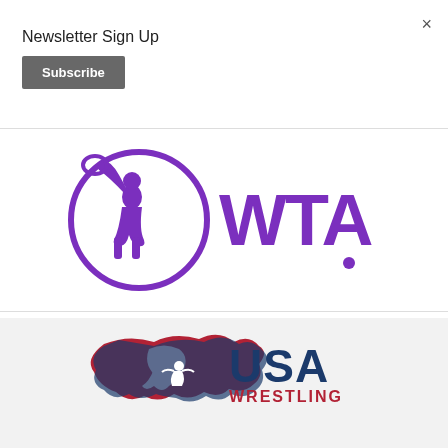Newsletter Sign Up
Subscribe
×
[Figure (logo): WTA (Women's Tennis Association) logo in purple, featuring a female tennis player silhouette in a circle and the letters WTA]
[Figure (logo): USA Wrestling logo with a red and blue map of the United States with a wrestling figure, and the text USA WRESTLING in navy blue and red]